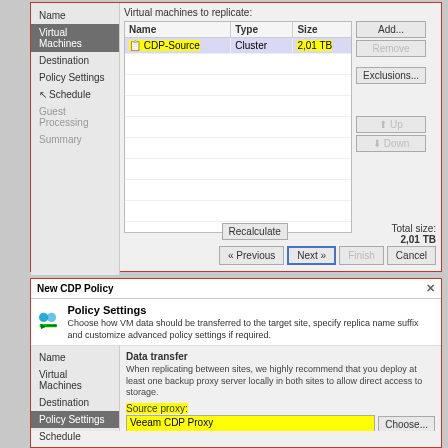[Figure (screenshot): Top dialog: New CDP Policy wizard - Virtual Machines step. Shows a VM table with CDP-Source (Cluster, 2.01 TB highlighted in yellow). Buttons: Add, Remove, Exclusions, Up, Down, Recalculate. Total size: 2.01 TB. Navigation: Previous, Next, Finish, Cancel.]
[Figure (screenshot): Bottom dialog: New CDP Policy - Policy Settings step. Shows Data transfer section with Source proxy (Veeam CDP Proxy, highlighted) and Target proxy (vbr-pro-cdp, highlighted). Choose buttons. Verify resources test button. Replica settings with Replica name suffix: _cdp.]